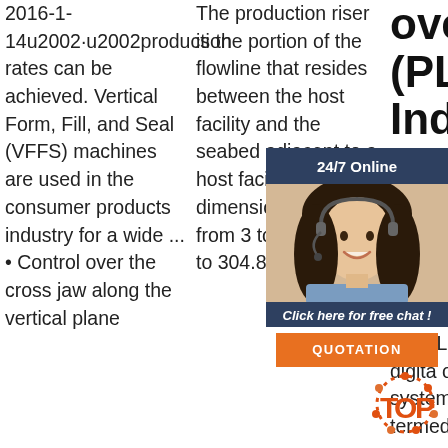2016-1-14u2002·u2002production rates can be achieved. Vertical Form, Fill, and Seal (VFFS) machines are used in the consumer products industry for a wide ... • Control over the cross jaw along the vertical plane
The production riser is the portion of the flowline that resides between the host facility and the seabed adjacent to a host facility. Riser dimensions range from 3 to 12 in (76.2 to 304.8 mm). in
overview (PLC) for Industrial Co
Prog Logi Cont (PLC digita oper electronic system or it can be termed as industrial computer
[Figure (photo): Chat widget with woman wearing headset, 24/7 Online header, 'Click here for free chat!' text, and orange QUOTATION button]
[Figure (logo): Orange and red TOP logo with dotted circular design]